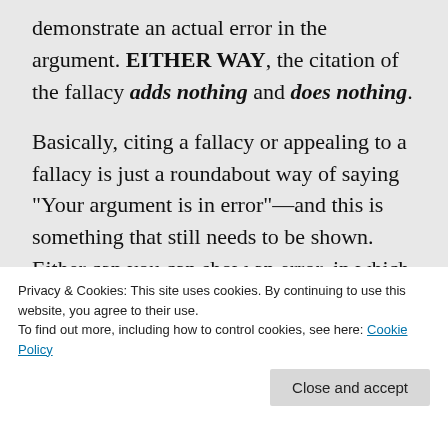demonstrate an actual error in the argument. EITHER WAY, the citation of the fallacy adds nothing and does nothing.
Basically, citing a fallacy or appealing to a fallacy is just a roundabout way of saying "Your argument is in error"—and this is something that still needs to be shown. Either can you can show an error, in which case the citation of the fallacy is superfluous and adds nothing; or you cannot show any error, in which case the
Privacy & Cookies: This site uses cookies. By continuing to use this website, you agree to their use.
To find out more, including how to control cookies, see here: Cookie Policy
Close and accept